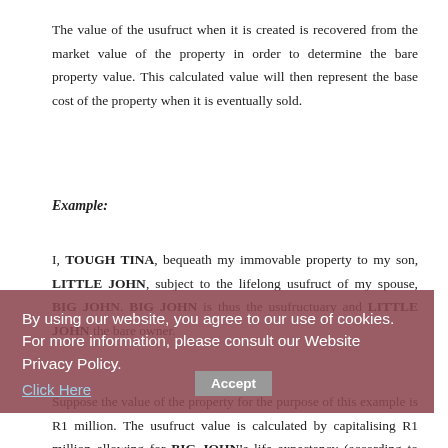The value of the usufruct when it is created is recovered from the market value of the property in order to determine the bare property value. This calculated value will then represent the base cost of the property when it is eventually sold.
Example:
I, TOUGH TINA, bequeath my immovable property to my son, LITTLE JOHN, subject to the lifelong usufruct of my spouse, BIG JOHN. BIG JOHN is thus the usufructuary and LITTLE JOHN the bare owner.
Suppose the value of the property for the purpose of this example is R1 million. The usufruct value is calculated by capitalising R1 million allowing for BIG JOHN's life expectancy (according to tables) and multiplying it by 12% (or a % as approved by SARS),